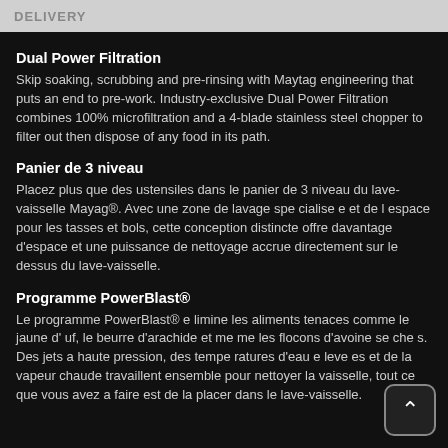DELIVERY
Dual Power Filtration
Skip soaking, scrubbing and pre-rinsing with Maytag engineering that puts an end to pre-work. Industry-exclusive Dual Power Filtration combines 100% microfiltration and a 4-blade stainless steel chopper to filter out then dispose of any food in its path.
Panier de 3 niveau
Placez plus que des ustensiles dans le panier de 3 niveau du lave-vaisselle Mayag®. Avec une zone de lavage spe cialise e et de l espace pour les tasses et bols, cette conception distincte offre davantage d'espace et une puissance de nettoyage accrue directement sur le dessus du lave-vaisselle.
Programme PowerBlast®
Le programme PowerBlast® e limine les aliments tenaces comme le jaune d' uf, le beurre d'arachide et me me les flocons d'avoine se che s. Des jets a haute pression, des tempe ratures d'eau e leve es et de la vapeur chaude travaillent ensemble pour nettoyer la vaisselle, tout ce que vous avez a faire est de la placer dans le lave-vaisselle.